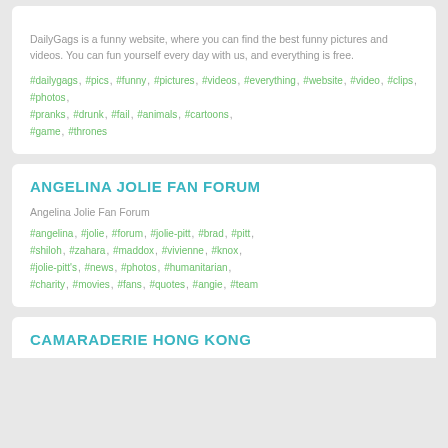DailyGags is a funny website, where you can find the best funny pictures and videos. You can fun yourself every day with us, and everything is free.
#dailygags , #pics , #funny , #pictures , #videos , #everything , #website , #video , #clips , #photos, #pranks , #drunk , #fail , #animals , #cartoons , #game , #thrones
ANGELINA JOLIE FAN FORUM
Angelina Jolie Fan Forum
#angelina , #jolie , #forum , #jolie-pitt , #brad , #pitt , #shiloh , #zahara , #maddox , #vivienne , #knox , #jolie-pitt's , #news , #photos, #humanitarian , #charity , #movies , #fans , #quotes , #angie , #team
CAMARADERIE HONG KONG